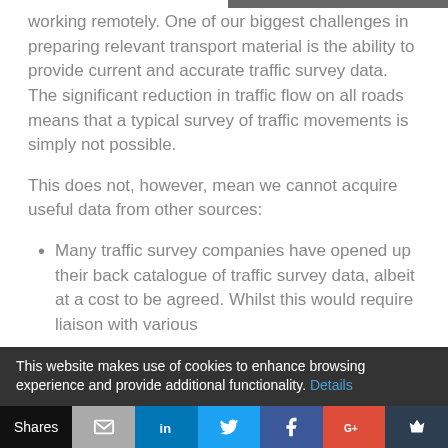working remotely. One of our biggest challenges in preparing relevant transport material is the ability to provide current and accurate traffic survey data. The significant reduction in traffic flow on all roads means that a typical survey of traffic movements is simply not possible.
This does not, however, mean we cannot acquire useful data from other sources:
Many traffic survey companies have opened up their back catalogue of traffic survey data, albeit at a cost to be agreed. Whilst this would require liaison with various
This website makes use of cookies to enhance browsing experience and provide additional functionality. Details
Shares